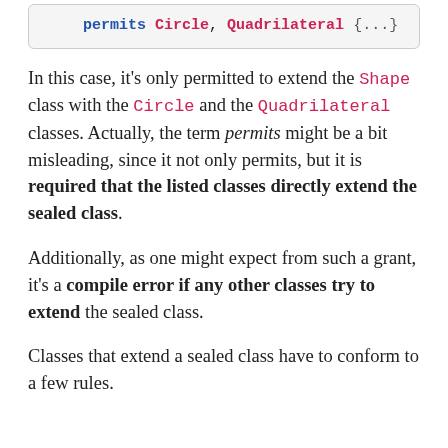[Figure (screenshot): Code snippet showing: permits Circle, Quadrilateral {...}]
In this case, it’s only permitted to extend the Shape class with the Circle and the Quadrilateral classes. Actually, the term permits might be a bit misleading, since it not only permits, but it is required that the listed classes directly extend the sealed class.
Additionally, as one might expect from such a grant, it’s a compile error if any other classes try to extend the sealed class.
Classes that extend a sealed class have to conform to a few rules.